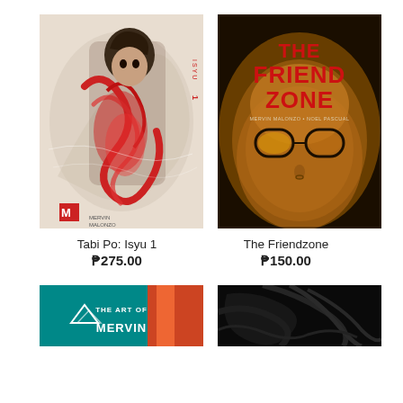[Figure (photo): Comic book cover: Tabi Po Isyu 1 - illustrated figure with red swirling design, dark background, M logo at bottom left, MERVIN MALONZO credit]
Tabi Po: Isyu 1
₱275.00
[Figure (photo): Comic book cover: The Friendzone - close-up of person with glasses on dark amber background, large red title text THE FRIEND ZONE, authors MERVIN MALONZO • NOEL PASCUAL]
The Friendzone
₱150.00
[Figure (photo): Partially visible comic book cover: The Art of Mervin - teal background with mountain logo and colorful artwork]
[Figure (photo): Partially visible dark comic book cover with dark swirling texture]